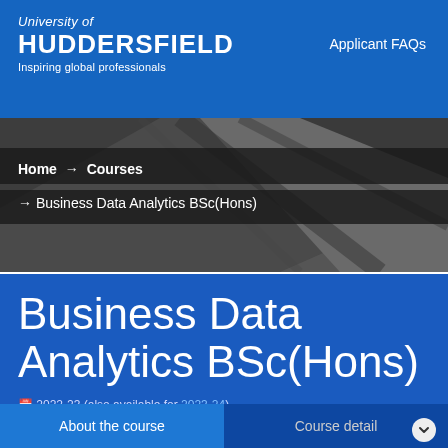University of Huddersfield – Inspiring global professionals | Applicant FAQs
Home → Courses
→ Business Data Analytics BSc(Hons)
Business Data Analytics BSc(Hons)
2022-23 (also available for 2023-24)
About the course | Course detail